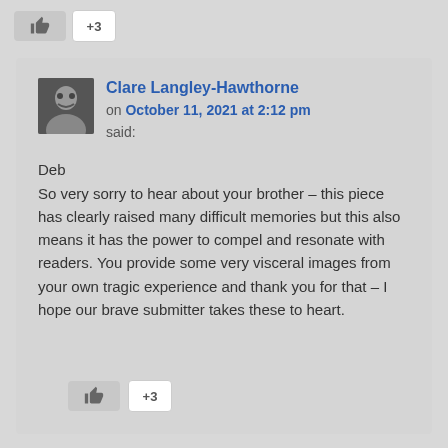[Figure (other): Like button with thumbs up icon and +3 count button]
Clare Langley-Hawthorne on October 11, 2021 at 2:12 pm said:
Deb
So very sorry to hear about your brother – this piece has clearly raised many difficult memories but this also means it has the power to compel and resonate with readers. You provide some very visceral images from your own tragic experience and thank you for that – I hope our brave submitter takes these to heart.
[Figure (other): Like button with thumbs up icon and +3 count button]